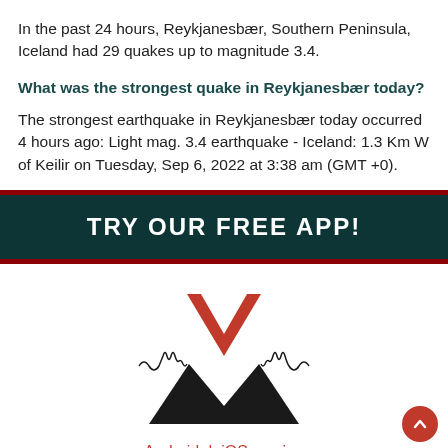In the past 24 hours, Reykjanesbær, Southern Peninsula, Iceland had 29 quakes up to magnitude 3.4.
What was the strongest quake in Reykjanesbær today?
The strongest earthquake in Reykjanesbær today occurred 4 hours ago: Light mag. 3.4 earthquake - Iceland: 1.3 Km W of Keilir on Tuesday, Sep 6, 2022 at 3:38 am (GMT +0).
[Figure (infographic): Dark teal banner with bold white uppercase text: TRY OUR FREE APP!]
[Figure (logo): Volcano app logo: red V shape with seismograph wave pattern above a black mountain silhouette]
Android | iOS version